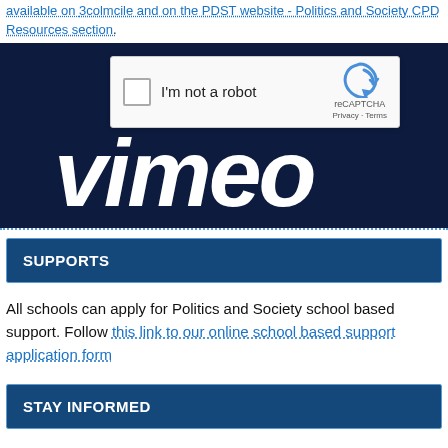available on 3colmcile and on the PDST website - Politics and Society CPD Resources section.
[Figure (screenshot): Vimeo video embed with reCAPTCHA 'I'm not a robot' checkbox overlay on dark navy background with Vimeo logo]
SUPPORTS
All schools can apply for Politics and Society school based support. Follow this link to our online school based support application form
STAY INFORMED
To register your details with the PDST for Politics and Society updates (for